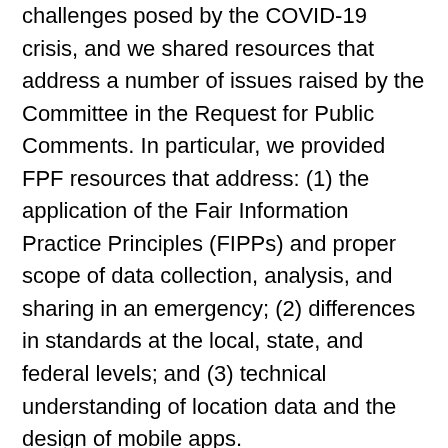challenges posed by the COVID-19 crisis, and we shared resources that address a number of issues raised by the Committee in the Request for Public Comments. In particular, we provided FPF resources that address: (1) the application of the Fair Information Practice Principles (FIPPs) and proper scope of data collection, analysis, and sharing in an emergency; (2) differences in standards at the local, state, and federal levels; and (3) technical understanding of location data and the design of mobile apps.
In recent months, FPF's Privacy and Pandemics Series has convened public health experts, academics, advocates, representatives of industry, and other experts to discuss how to create frameworks to safeguard the responsible use of data while creating and employing new tools, such as contact tracing apps. FPF has also developed educational resources, such as an infographic to demonstrate how mobile